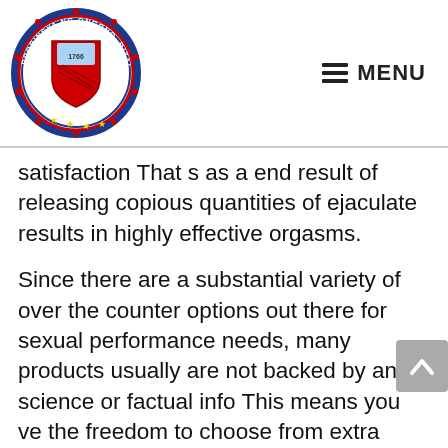[Figure (logo): Circular seal of Probinsya ng Ongono, Rizal with a red shield coat of arms, dated 1766, surrounded by the text PROBINSYA NG ONGONO, RIZAL and SAGISAG, with stars at the bottom.]
MENU
satisfaction That s as a end result of releasing copious quantities of ejaculate results in highly effective orgasms.
Since there are a substantial variety of over the counter options out there for sexual performance needs, many products usually are not backed by any science or factual info This means you ve the freedom to choose from extra complement firms with the downside of having to navigate through seas of ineffective and typically even dangerous penis enlargement products This is why